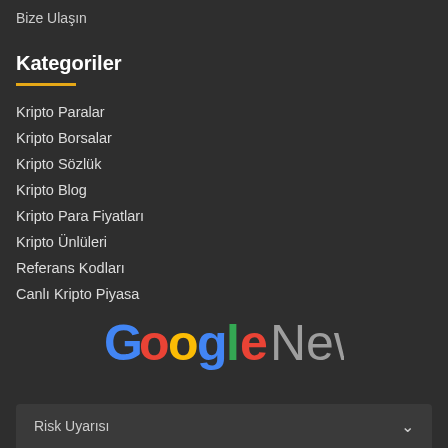Bize Ulaşın
Kategoriler
Kripto Paralar
Kripto Borsalar
Kripto Sözlük
Kripto Blog
Kripto Para Fiyatları
Kripto Ünlüleri
Referans Kodları
Canlı Kripto Piyasa
[Figure (logo): Google News logo with colorful Google lettering and gray News text]
Risk Uyarısı